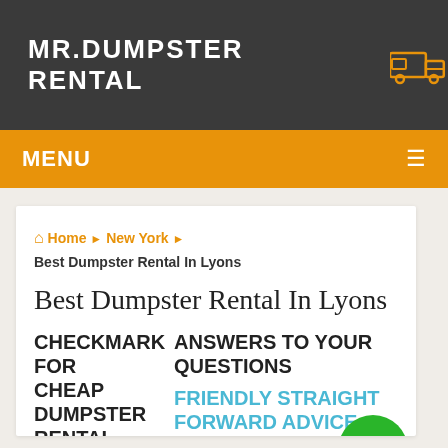MR.DUMPSTER RENTAL
MENU
Home › New York › Best Dumpster Rental In Lyons
Best Dumpster Rental In Lyons
[Figure (illustration): Broken image placeholder icon with overlay text: CHECKMARK FOR CHEAP DUMPSTER RENTAL]
ANSWERS TO YOUR QUESTIONS
FRIENDLY STRAIGHT FORWARD ADVICE
We realize you may have a few